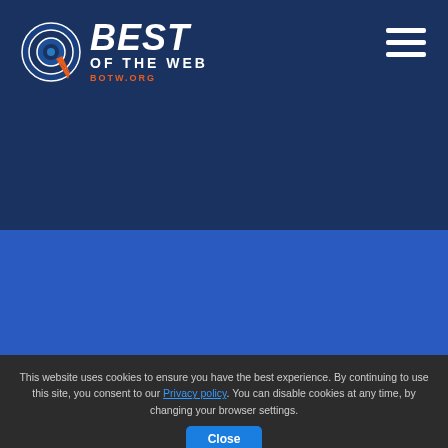[Figure (logo): Best of the Web (BOTW.ORG) logo with circular target icon and arrow, white text on dark blue background]
[Figure (other): Hamburger menu icon (three horizontal white lines) in upper right corner]
This website uses cookies to ensure you have the best experience. By continuing to use this site, you consent to our Privacy policy. You can disable cookies at any time, by changing your browser settings.
Close
Find all of the businesses and ... local to the Terrell, Texas